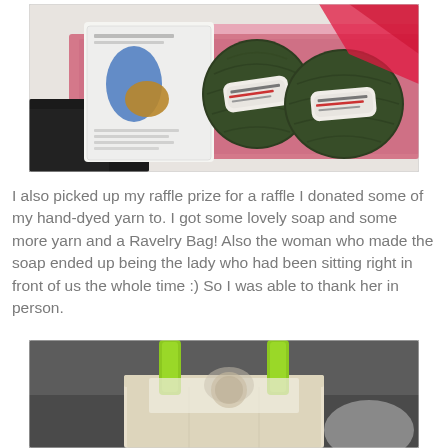[Figure (photo): Photo of yarn balls and a sock knitting pattern packet on pink tissue paper, with two dark green yarn balls in the center and right, and a white packet with a blue and tan sock illustration on the left.]
I also picked up my raffle prize for a raffle I donated some of my hand-dyed yarn to. I got some lovely soap and some more yarn and a Ravelry Bag! Also the woman who made the soap ended up being the lady who had been sitting right in front of us the whole time :) So I was able to thank her in person.
[Figure (photo): Photo of a canvas tote bag with lime green handles sitting on a dark grey surface, partially filled with items.]